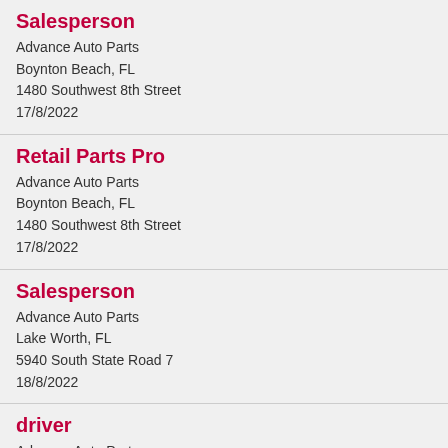Salesperson
Advance Auto Parts
Boynton Beach, FL
1480 Southwest 8th Street
17/8/2022
Retail Parts Pro
Advance Auto Parts
Boynton Beach, FL
1480 Southwest 8th Street
17/8/2022
Salesperson
Advance Auto Parts
Lake Worth, FL
5940 South State Road 7
18/8/2022
driver
Advance Auto Parts
West Palm Beach, FL
9950 Southern Boulevard
18/8/2022
Store Hourly